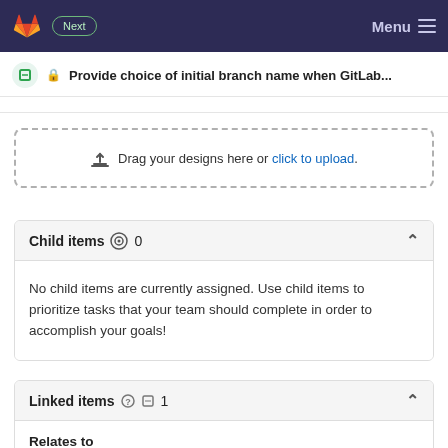Next  Menu
Provide choice of initial branch name when GitLab...
Drag your designs here or click to upload.
Child items  0
No child items are currently assigned. Use child items to prioritize tasks that your team should complete in order to accomplish your goals!
Linked items  1
Relates to